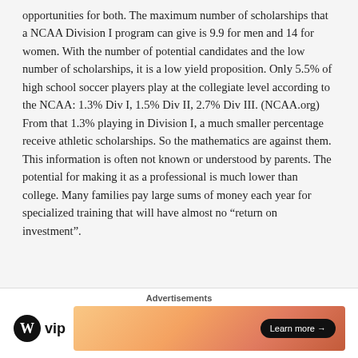opportunities for both. The maximum number of scholarships that a NCAA Division I program can give is 9.9 for men and 14 for women. With the number of potential candidates and the low number of scholarships, it is a low yield proposition. Only 5.5% of high school soccer players play at the collegiate level according to the NCAA: 1.3% Div I, 1.5% Div II, 2.7% Div III. (NCAA.org) From that 1.3% playing in Division I, a much smaller percentage receive athletic scholarships. So the mathematics are against them. This information is often not known or understood by parents. The potential for making it as a professional is much lower than college. Many families pay large sums of money each year for specialized training that will have almost no “return on investment”.
Advertisements
[Figure (logo): WordPress VIP logo and an advertisement banner with 'Learn more' button]